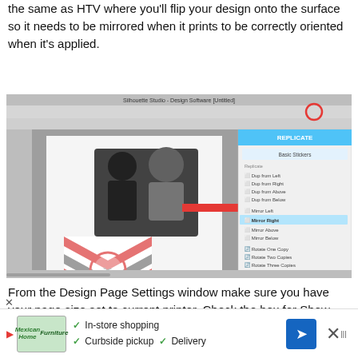the same as HTV where you'll flip your design onto the surface so it needs to be mirrored when it prints to be correctly oriented when it's applied.
[Figure (screenshot): Screenshot of a design software (Silhouette Studio) showing the Replicate panel open on the right side with Mirror Right highlighted by a red arrow. The canvas shows a black and white photo and a chevron pattern design. A red circle highlights a toolbar button at top right.]
From the Design Page Settings window make sure you have your page size set to current printer. Check the box for Show Print Border.  Make sure all of your designs are inside that area before you print.